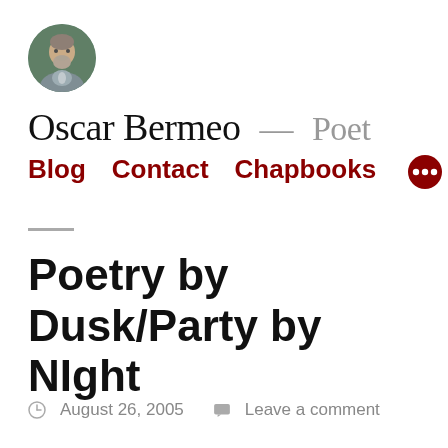[Figure (photo): Circular avatar photo of a man with gray hair and beard, wearing a gray jacket, outdoors]
Oscar Bermeo — Poet
Blog  Contact  Chapbooks  •••
Poetry by Dusk/Party by NIght
August 26, 2005   Leave a comment